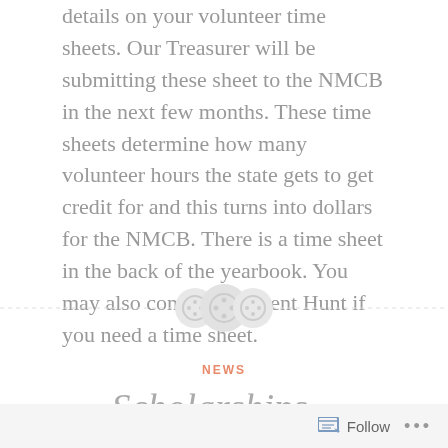details on your volunteer time sheets.  Our Treasurer will be submitting these sheet to the NMCB in the next few months.  These time sheets determine how many volunteer hours the state gets to get credit for and this turns into dollars for the NMCB.  There is a time sheet in the back of the yearbook.  You may also contact President Hunt if you need a time sheet.
[Figure (illustration): Decorative divider with three circular button-like icons centered on a dashed horizontal line]
NEWS
Scholarships...
Follow ...